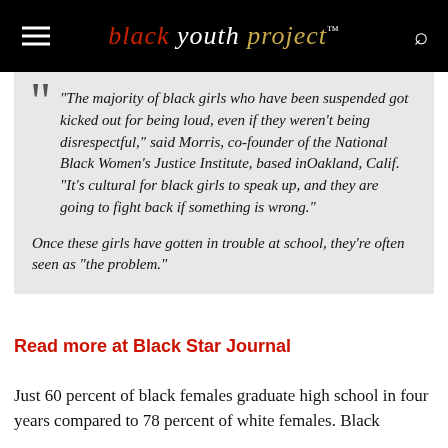black youth project™
“The majority of black girls who have been suspended got kicked out for being loud, even if they weren’t being disrespectful,” said Morris, co-founder of the National Black Women’s Justice Institute, based inOakland, Calif. “It’s cultural for black girls to speak up, and they are going to fight back if something is wrong.” Once these girls have gotten in trouble at school, they’re often seen as “the problem.”
Read more at Black Star Journal
Just 60 percent of black females graduate high school in four years compared to 78 percent of white females. Black